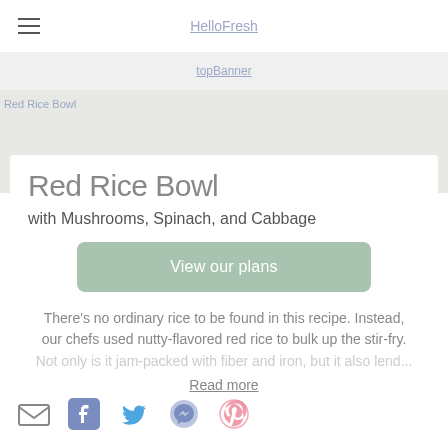HelloFresh
[Figure (other): Top banner image placeholder labeled topBanner]
[Figure (photo): Red Rice Bowl hero food photo]
Red Rice Bowl
with Mushrooms, Spinach, and Cabbage
View our plans
There's no ordinary rice to be found in this recipe. Instead, our chefs used nutty-flavored red rice to bulk up the stir-fry. Not only is it jam-packed with fiber and iron, but it also lend...
Read more
[Figure (other): Social sharing icons: email, Facebook, Twitter, Messenger, Pinterest]